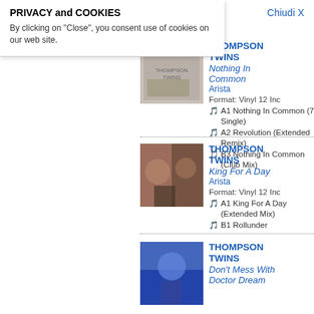PRIVACY and COOKIES
By clicking on "Close", you consent use of cookies on our web site.
Chiudi X
THOMPSON TWINS
Nothing In Common
Arista
Format: Vinyl 12 Inc
A1 Nothing In Common (7 Single)
A2 Revolution (Extended Remix)
B3 Nothing In Common (Club Mix)
THOMPSON TWINS
King For A Day
Arista
Format: Vinyl 12 Inc
A1 King For A Day (Extended Mix)
B1 Rollunder
THOMPSON TWINS
Don't Mess With Doctor Dream